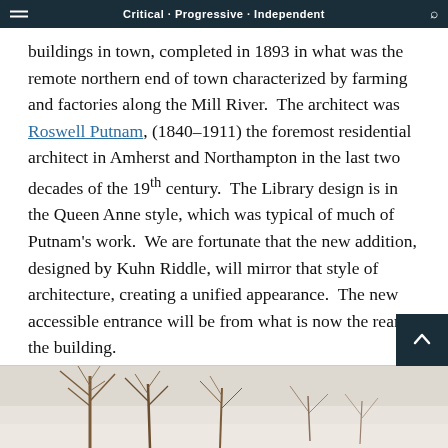Critical · Progressive · Independent
buildings in town, completed in 1893 in what was the remote northern end of town characterized by farming and factories along the Mill River.  The architect was Roswell Putnam, (1840–1911) the foremost residential architect in Amherst and Northampton in the last two decades of the 19th century.  The Library design is in the Queen Anne style, which was typical of much of Putnam's work.  We are fortunate that the new addition, designed by Kuhn Riddle, will mirror that style of architecture, creating a unified appearance.  The new accessible entrance will be from what is now the rear of the building.
[Figure (photo): Black and white winter photograph showing bare trees against a snowy background, partially visible at the bottom of the page.]